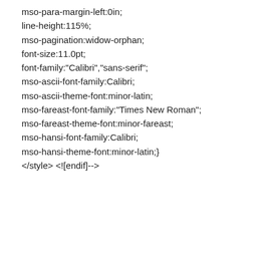mso-para-margin-left:0in;
line-height:115%;
mso-pagination:widow-orphan;
font-size:11.0pt;
font-family:"Calibri","sans-serif";
mso-ascii-font-family:Calibri;
mso-ascii-theme-font:minor-latin;
mso-fareast-font-family:"Times New Roman";
mso-fareast-theme-font:minor-fareast;
mso-hansi-font-family:Calibri;
mso-hansi-theme-font:minor-latin;}
</style> <![endif]-->